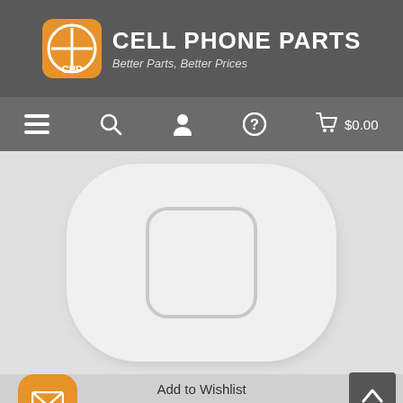[Figure (logo): Cell Phone Parts logo with orange rounded square icon showing CPP and white crosshair, with text CELL PHONE PARTS and tagline Better Parts, Better Prices on dark grey background]
[Figure (screenshot): Navigation bar with hamburger menu, search, user, help, and cart icons showing $0.00 on dark grey background]
[Figure (photo): Close-up product photo of a white iPhone home button on light grey background]
Add to Wishlist
iT... d T... t. D.l.t... T... U..d M.lt. T.t...t...